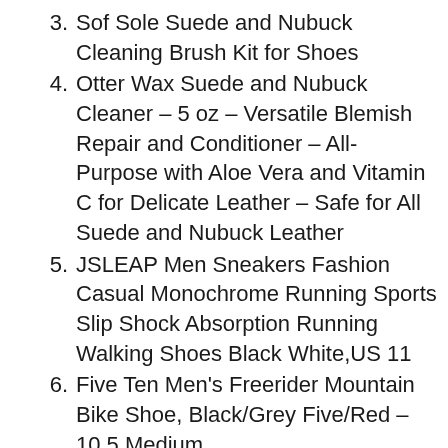3. Sof Sole Suede and Nubuck Cleaning Brush Kit for Shoes
4. Otter Wax Suede and Nubuck Cleaner – 5 oz – Versatile Blemish Repair and Conditioner – All-Purpose with Aloe Vera and Vitamin C for Delicate Leather – Safe for All Suede and Nubuck Leather
5. JSLEAP Men Sneakers Fashion Casual Monochrome Running Sports Slip Shock Absorption Running Walking Shoes Black White,US 11
6. Five Ten Men's Freerider Mountain Bike Shoe, Black/Grey Five/Red – 10.5 Medium
7. Organic Red Raspberry Leaf | Herbal Tea (200+ Cups) | Cut & Sifted Leaves | 1 oz Resealable Kraft Bag (1lb) | 100%